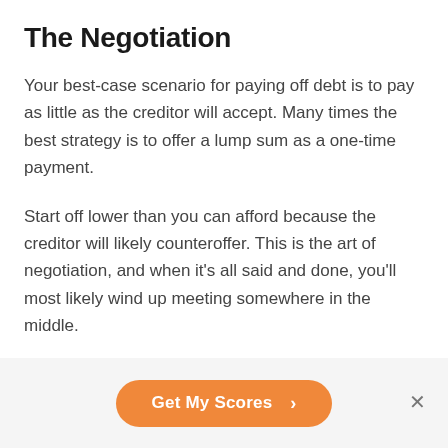The Negotiation
Your best-case scenario for paying off debt is to pay as little as the creditor will accept. Many times the best strategy is to offer a lump sum as a one-time payment.
Start off lower than you can afford because the creditor will likely counteroffer. This is the art of negotiation, and when it’s all said and done, you’ll most likely wind up meeting somewhere in the middle.
How much will creditors settle for? Debt Settlement firms
[Figure (other): Orange rounded-rectangle call-to-action button labeled 'Get My Scores >' with a close (×) button to the right, on a light gray bottom bar.]